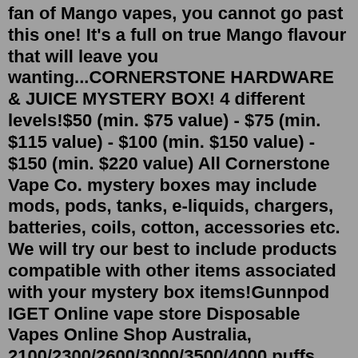fan of Mango vapes, you cannot go past this one! It's a full on true Mango flavour that will leave you wanting...CORNERSTONE HARDWARE & JUICE MYSTERY BOX! 4 different levels!$50 (min. $75 value) - $75 (min. $115 value) - $100 (min. $150 value) - $150 (min. $220 value) All Cornerstone Vape Co. mystery boxes may include mods, pods, tanks, e-liquids, chargers, batteries, coils, cotton, accessories etc. We will try our best to include products compatible with other items associated with your mystery box items!Gunnpod IGET Online vape store Disposable Vapes Online Shop Australia, 2100/2300/2600/3000/3500/4000 puffs , many flavors to choose from.Consider having a nighttime device and a daytime one. Use a higher Ohms coil throughout the day. This will meet your desire to vape without using a ton of juice. Use your sub-ohm setup for nighttime where you can have a satisfying vape before sleep. This will help you make your juice last longer, and you can look forward to the evening vape The 88Vape 50/50 e-liquid range is a specially